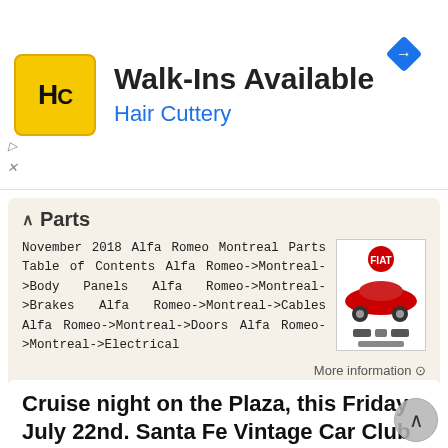[Figure (screenshot): Hair Cuttery advertisement banner with yellow/black HC logo, 'Walk-Ins Available' headline, 'Hair Cuttery' subline in blue, and a blue navigation arrow icon top right]
Parts
November 2018 Alfa Romeo Montreal Parts Table of Contents Alfa Romeo->Montreal->Body Panels Alfa Romeo->Montreal->Brakes Alfa Romeo->Montreal->Cables Alfa Romeo->Montreal->Doors Alfa Romeo->Montreal->Electrical
More information →
Cruise night on the Plaza, this Friday July 22nd. Santa Fe Vintage Car Club monthly meeting is July 24th th
Santa Fe Vintage Car Club Newsletter- July 2011. SFVCC 1008 Old Santa Fe Trail Santa